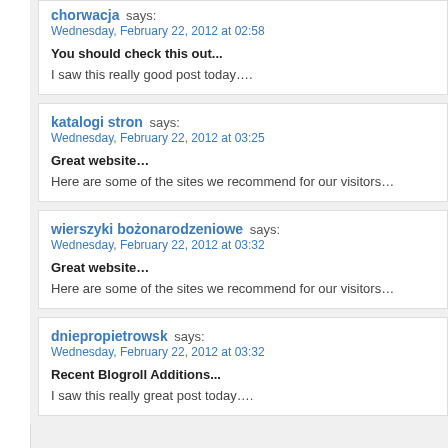chorwacja says: Wednesday, February 22, 2012 at 02:58
You should check this out...
I saw this really good post today….
katalogi stron says: Wednesday, February 22, 2012 at 03:25
Great website…
Here are some of the sites we recommend for our visitors…
wierszyki bożonarodzeniowe says: Wednesday, February 22, 2012 at 03:32
Great website…
Here are some of the sites we recommend for our visitors…
dniepropietrowsk says: Wednesday, February 22, 2012 at 03:32
Recent Blogroll Additions...
I saw this really great post today….